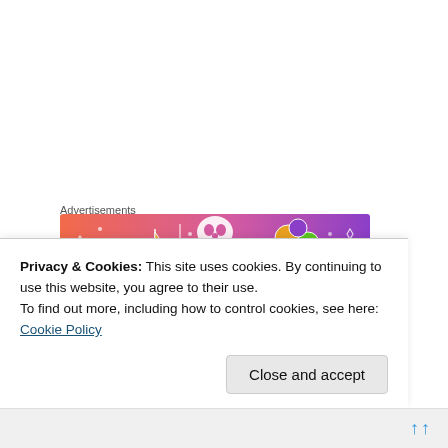Advertisements
[Figure (illustration): Colorful advertisement banner with gradient background from coral/orange on the left to purple on the right, featuring whimsical illustrated icons including a sailboat, skull, dice/orbs, arrows, diamonds, and musical notes with white doodle-style decorations.]
What goes out…come in…
[Figure (photo): Photo of a black curly-haired dog (likely a cocker spaniel) viewed from behind, sitting in a grass field. Only the top/back of the dog's head is visible against a blurred green grass background.]
Privacy & Cookies: This site uses cookies. By continuing to use this website, you agree to their use.
To find out more, including how to control cookies, see here: Cookie Policy